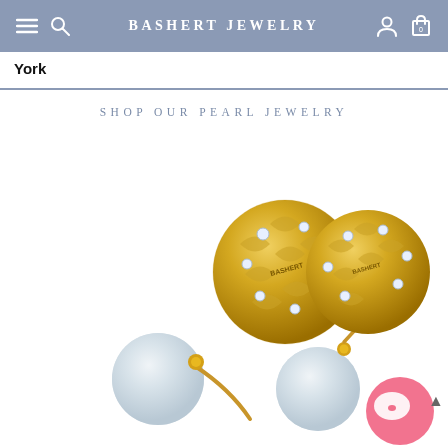BASHERT JEWELRY
York
SHOP OUR PEARL JEWELRY
[Figure (photo): Two pearl earrings with gold filigree diamond-encrusted ball tops and white pearl drops on gold posts, shown separated on white background. Brand name BASHERT visible on the gold balls.]